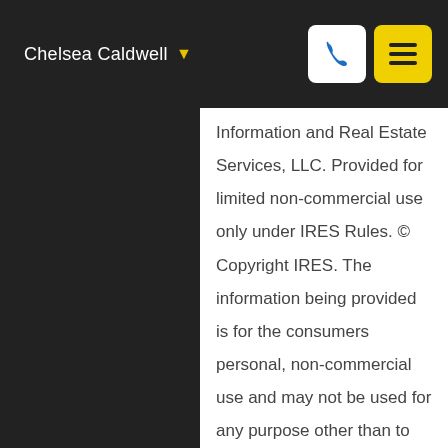Chelsea Caldwell
Information and Real Estate Services, LLC. Provided for limited non-commercial use only under IRES Rules. © Copyright IRES. The information being provided is for the consumers personal, non-commercial use and may not be used for any purpose other than to identify prospective properties consumer may be interested in purchasing. The IRES, LLC